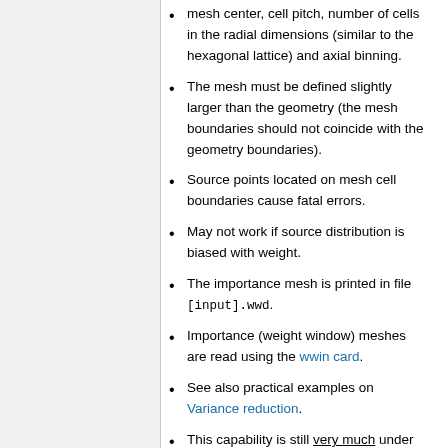mesh center, cell pitch, number of cells in the radial dimensions (similar to the hexagonal lattice) and axial binning.
The mesh must be defined slightly larger than the geometry (the mesh boundaries should not coincide with the geometry boundaries).
Source points located on mesh cell boundaries cause fatal errors.
May not work if source distribution is biased with weight.
The importance mesh is printed in file [input].wwd.
Importance (weight window) meshes are read using the wwin card.
See also practical examples on Variance reduction.
This capability is still very much under development. The input syntax